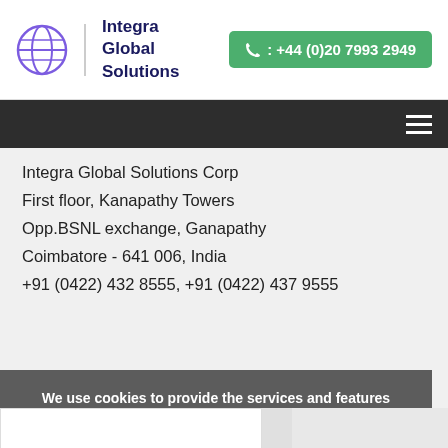[Figure (logo): Integra Global Solutions logo with globe icon and company name, plus phone number button]
[Figure (other): Dark navigation bar with hamburger menu icon]
Integra Global Solutions Corp
First floor, Kanapathy Towers
Opp.BSNL exchange, Ganapathy
Coimbatore - 641 006, India
+91 (0422) 432 8555, +91 (0422) 437 9555
We use cookies to provide the services and features offered on our website, and to improve our user experience. By continuing to use this site you consent to the use of cookies.
OK